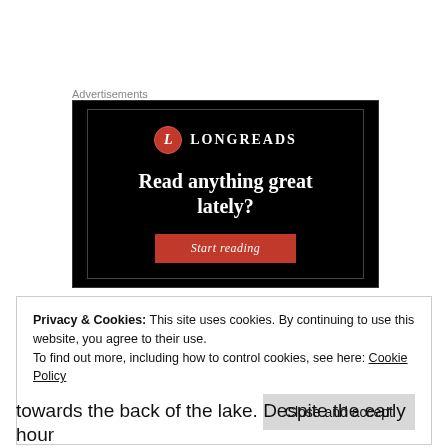Advertisements
[Figure (illustration): Longreads advertisement banner with black background. Shows the Longreads logo (red circle with 'L' and the word LONGREADS), headline text 'Read anything great lately?' and a red 'Start reading' button.]
Privacy & Cookies: This site uses cookies. By continuing to use this website, you agree to their use. To find out more, including how to control cookies, see here: Cookie Policy
Close and accept
towards the back of the lake. Despite the early hour